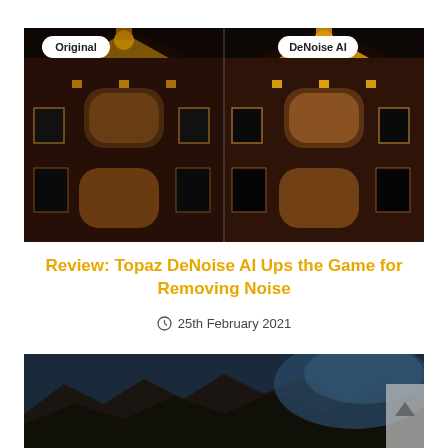[Figure (photo): Side-by-side comparison of a brick building at night: left half labeled 'Original' (noisy), right half labeled 'DeNoise AI' (de-noised). Both show a dark European-style brick facade with arched windows and golden-lit ornaments.]
Review: Topaz DeNoise AI Ups the Game for Removing Noise
25th February 2021
[Figure (photo): Dark blue-toned photo of rocky formations against a moody sky, partially visible at bottom of page.]